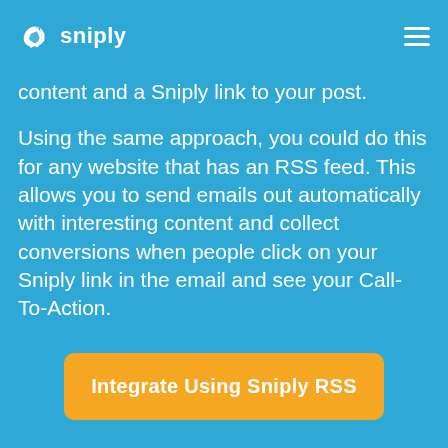sniply
content and a Sniply link to your post.
Using the same approach, you could do this for any website that has an RSS feed. This allows you to send emails out automatically with interesting content and collect conversions when people click on your Sniply link in the email and see your Call-To-Action.
Integrate Using Sniply RSS